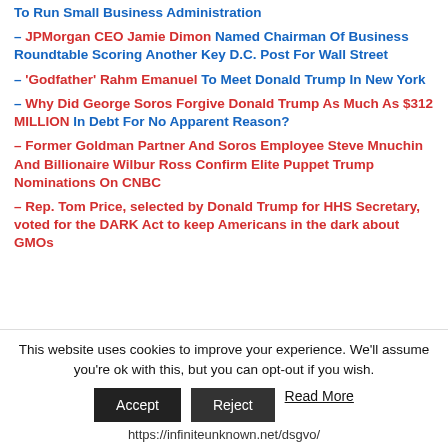To Run Small Business Administration
– JPMorgan CEO Jamie Dimon Named Chairman Of Business Roundtable Scoring Another Key D.C. Post For Wall Street
– 'Godfather' Rahm Emanuel To Meet Donald Trump In New York
– Why Did George Soros Forgive Donald Trump As Much As $312 MILLION In Debt For No Apparent Reason?
– Former Goldman Partner And Soros Employee Steve Mnuchin And Billionaire Wilbur Ross Confirm Elite Puppet Trump Nominations On CNBC
– Rep. Tom Price, selected by Donald Trump for HHS Secretary, voted for the DARK Act to keep Americans in the dark about GMOs
This website uses cookies to improve your experience. We'll assume you're ok with this, but you can opt-out if you wish. Accept Reject Read More https://infiniteunknown.net/dsgvo/